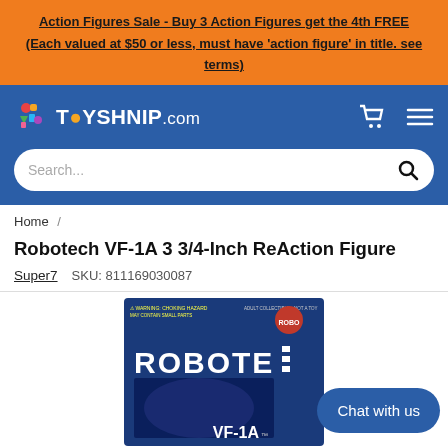Action Figures Sale - Buy 3 Action Figures get the 4th FREE (Each valued at $50 or less, must have 'action figure' in title. see terms)
[Figure (logo): Toyshnip.com logo with colorful toy pieces icon and shopping cart and hamburger menu icons]
Search...
Home /
Robotech VF-1A 3 3/4-Inch ReAction Figure
Super7   SKU: 811169030087
[Figure (photo): Product packaging for Robotech VF-1A ReAction Figure showing blue box with ROBOTECH and VF-1A text, partially obscured by Chat with us button]